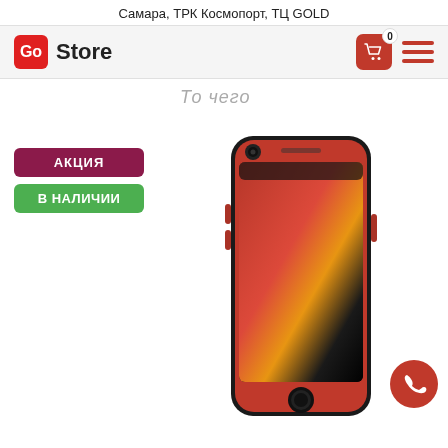Самара, ТРК Космопорт, ТЦ GOLD
[Figure (logo): Go Store logo with red rounded square containing 'Go' and bold text 'Store']
[Figure (screenshot): Navigation bar icons: red shopping cart with badge '0' and red hamburger menu]
То чего
АКЦИЯ
В НАЛИЧИИ
[Figure (photo): Red iPhone SE smartphone shown front-facing with red and black gradient screen display]